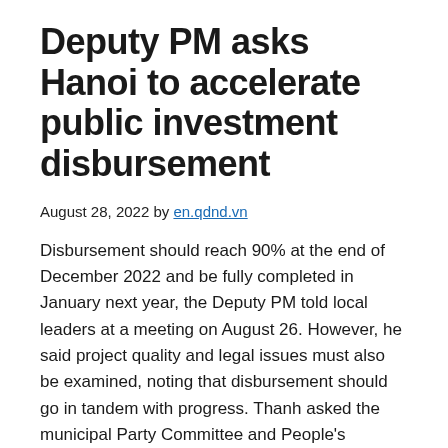Deputy PM asks Hanoi to accelerate public investment disbursement
August 28, 2022 by en.qdnd.vn
Disbursement should reach 90% at the end of December 2022 and be fully completed in January next year, the Deputy PM told local leaders at a meeting on August 26. However, he said project quality and legal issues must also be examined, noting that disbursement should go in tandem with progress. Thanh asked the municipal Party Committee and People's Committee, as well as departments and districts in Hanoi, to work to complete a number of projects by the end of this